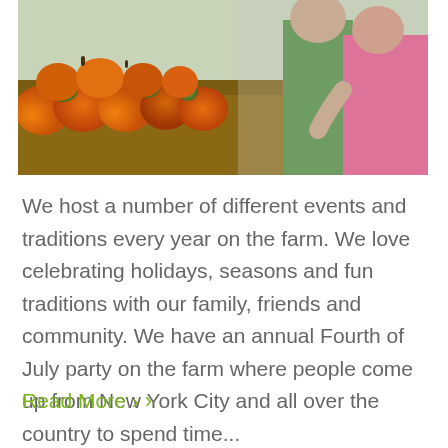[Figure (photo): Photo of two people standing in front of a large display of orange pumpkins and gourds at a farm stand. One person wears a green shirt, the other wears a pink shirt.]
We host a number of different events and traditions every year on the farm. We love celebrating holidays, seasons and fun traditions with our family, friends and community. We have an annual Fourth of July party on the farm where people come up from New York City and all over the country to spend time...
Read More ›